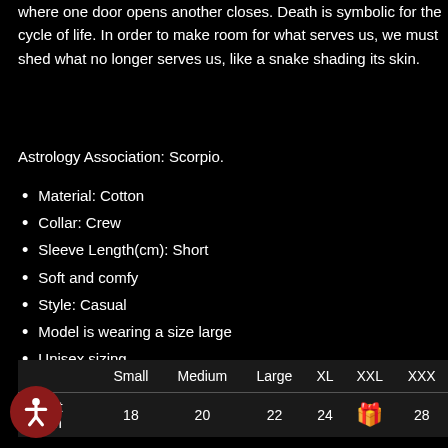where one door opens another closes. Death is symbolic for the cycle of life. In order to make room for what serves us, we must shed what no longer serves us, like a snake shading its skin.
Astrology Association: Scorpio.
Material: Cotton
Collar: Crew
Sleeve Length(cm): Short
Soft and comfy
Style: Casual
Model is wearing a size large
Unisex sizing
|  | Small | Medium | Large | XL | XXL | XXXL |
| --- | --- | --- | --- | --- | --- | --- |
| Chest Width | 18 | 20 | 22 | 24 |  | 28 |